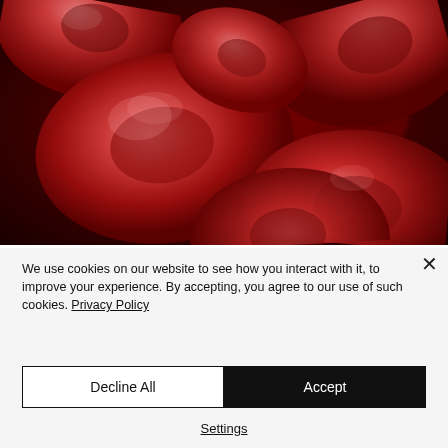[Figure (photo): Close-up macro photograph of red blood cells (erythrocytes) in deep red/crimson tones, showing the biconcave disc shape of multiple overlapping blood cells against a dark red background.]
We use cookies on our website to see how you interact with it, to improve your experience. By accepting, you agree to our use of such cookies. Privacy Policy
Decline All
Accept
Settings